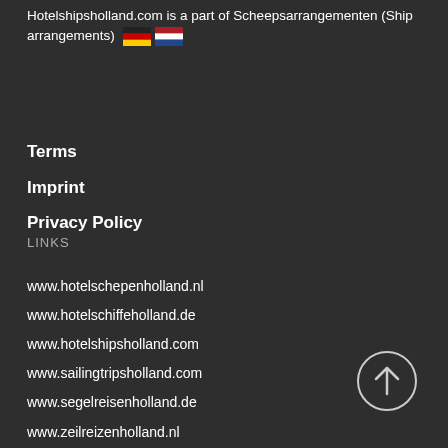Hotelshipsholland.com is a part of Scheepsarrangementen (Ship arrangements)
Terms
Imprint
Privacy Policy
LINKS
www.hotelschepenholland.nl
www.hotelschiffeholland.de
www.hotelshipsholland.com
www.sailingtripsholland.com
www.segelreisenholland.de
www.zeilreizenholland.nl
www.scheepsarrangementen.nl
[Figure (illustration): Circular arrow-up button (scroll to top)]